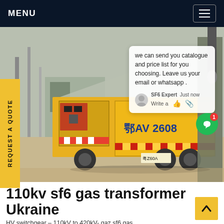MENU
[Figure (photo): A yellow truck/service vehicle carrying SF6 gas equipment at an electrical substation, with high-voltage infrastructure visible in the background. A chat popup overlay is visible on the right side of the image.]
REQUEST A QUOTE
we can send you catalogue and price list for you choosing. Leave us your email or whatsapp .
SF6 Expert   Just now
Write a
110kv sf6 gas transformer Ukraine
HV switchgear – 110kV to 420kV- gaz sf6 gas